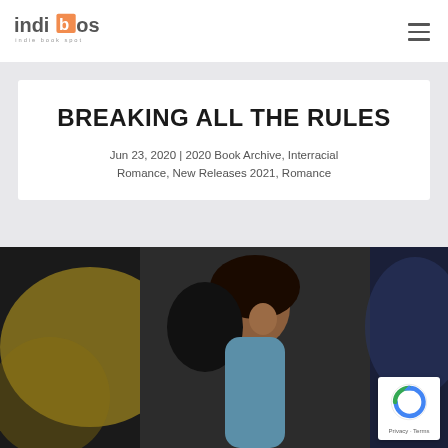[Figure (logo): indibos indie book spot logo with orange book icon and gray text]
BREAKING ALL THE RULES
Jun 23, 2020 | 2020 Book Archive, Interracial Romance, New Releases 2021, Romance
[Figure (photo): Close-up photo of a couple in an intimate moment, woman with curly hair leaning close to a man, colorful blurred background]
[Figure (logo): reCAPTCHA badge with Privacy and Terms text]